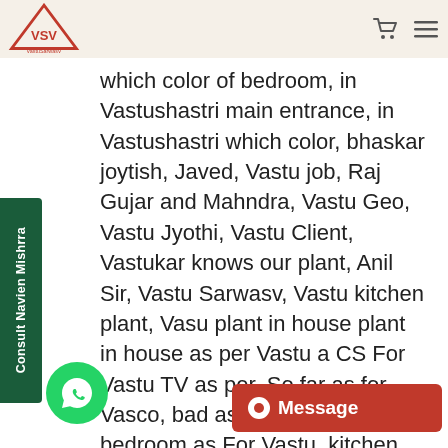VastuSarwasV logo with navigation icons
which color of bedroom, in Vastushastri main entrance, in Vastushastri which color, bhaskar joytish, Javed, Vastu job, Raj Gujar and Mahndra, Vastu Geo, Vastu Jyothi, Vastu Client, Vastukar knows our plant, Anil Sir, Vastu Sarwasv, Vastu kitchen plant, Vasu plant in house plant in house as per Vastu a CS For Vastu TV as per, So far as for Vasco, bad as For Vastu, bedroom as For Vastu, kitchen as per Vastu, all as per Vastu, entrance as per Vastu, parking space as per Vastu, clinic as per Vastu, counter as per Vastu, Saif and For Vastu, Mani opportunities as For Vastu, Mani opportunities, social, ial distancing, anxiety churning Vastu, arning Vastu, financial equ Vastu, Vasu finance, Power confidence, Vastu